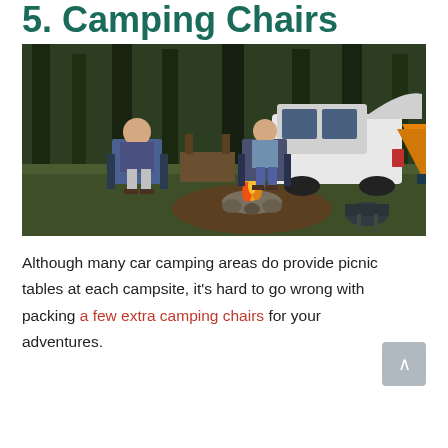5. Camping Chairs
[Figure (photo): Two people sitting in camping chairs near a campfire in a forest, with a white SUV with open trunk in the background and an orange tent on the right side.]
Although many car camping areas do provide picnic tables at each campsite, it's hard to go wrong with packing a few extra camping chairs for your adventures.